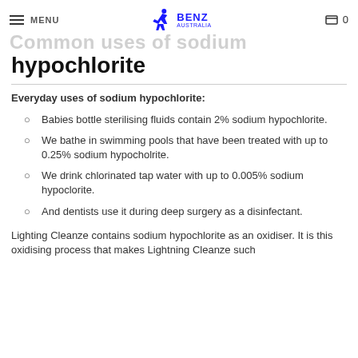MENU | BENZ | 0
Common uses of sodium hypochlorite
Everyday uses of sodium hypochlorite:
Babies bottle sterilising fluids contain 2% sodium hypochlorite.
We bathe in swimming pools that have been treated with up to 0.25% sodium hypocholrite.
We drink chlorinated tap water with up to 0.005% sodium hypoclorite.
And dentists use it during deep surgery as a disinfectant.
Lighting Cleanze contains sodium hypochlorite as an oxidiser. It is this oxidising process that makes Lightning Cleanze such